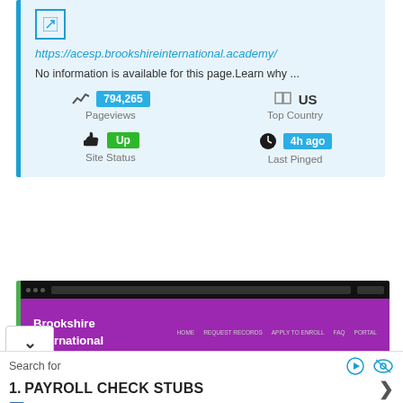https://acesp.brookshireinternational.academy/
No information is available for this page.Learn why ...
794,265 Pageviews
US Top Country
Up Site Status
4h ago Last Pinged
[Figure (screenshot): Screenshot of Brookshire International website with purple header]
Search for
1. PAYROLL CHECK STUBS
Ad | Business Focus